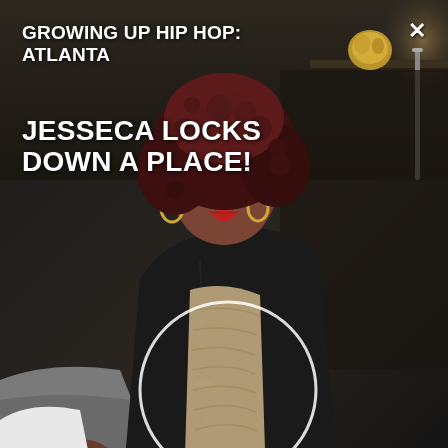[Figure (photo): A woman with curly dark red hair wearing a black hoodie over a patterned top and ripped jeans with sneakers, sitting in a gray chair. A white circle is overlaid on her torso area. Background shows a modern interior space.]
GROWING UP HIP HOP: ATLANTA
JESSECA LOCKS DOWN A PLACE!